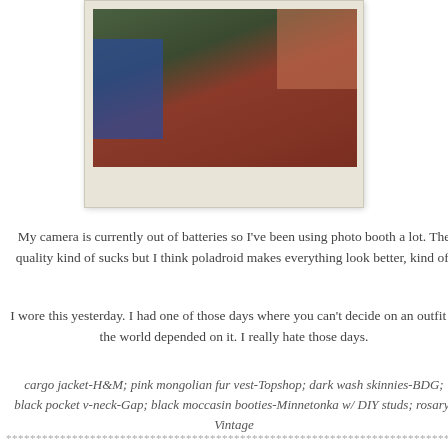[Figure (photo): A Polaroid-style photograph showing a person standing in a room with dark red/maroon furniture, blue object on the left, and warm-toned walls with pictures in the background.]
My camera is currently out of batteries so I've been using photo booth a lot. The quality kind of sucks but I think poladroid makes everything look better, kind of.
I wore this yesterday. I had one of those days where you can't decide on an outfit if the world depended on it. I really hate those days.
cargo jacket-H&M; pink mongolian fur vest-Topshop; dark wash skinnies-BDG; black pocket v-neck-Gap; black moccasin booties-Minnetonka w/ DIY studs; rosary-Vintage
******************************************************************************